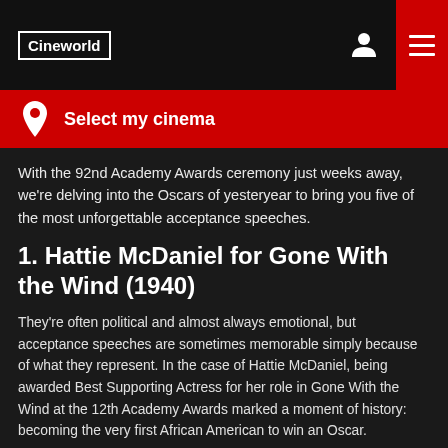Cineworld
Select my cinema
With the 92nd Academy Awards ceremony just weeks away, we're delving into the Oscars of yesteryear to bring you five of the most unforgettable acceptance speeches.
1. Hattie McDaniel for Gone With the Wind (1940)
They're often political and almost always emotional, but acceptance speeches are sometimes memorable simply because of what they represent. In the case of Hattie McDaniel, being awarded Best Supporting Actress for her role in Gone With the Wind at the 12th Academy Awards marked a moment of history: becoming the very first African American to win an Oscar.
At a time of great racial injustice (exemplified by the fact that Georgia race laws at the time prohibited McDaniel from attending the premiere of her own film), ) her win was all the more impressive. McDaniel also faced criticism from the African American community itself [for...